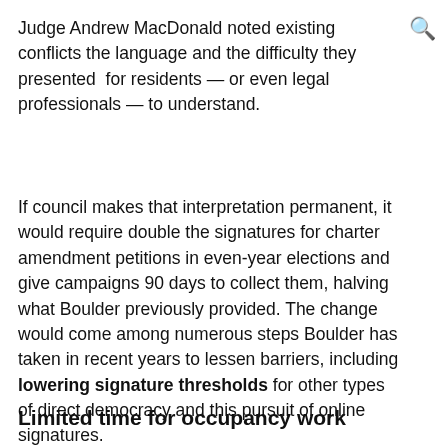Judge Andrew MacDonald noted existing conflicts the language and the difficulty they presented for residents — or even legal professionals — to understand.
If council makes that interpretation permanent, it would require double the signatures for charter amendment petitions in even-year elections and give campaigns 90 days to collect them, halving what Boulder previously provided. The change would come among numerous steps Boulder has taken in recent years to lessen barriers, including lowering signature thresholds for other types of direct democracy and this pursuit of online signatures.
Limited time for occupancy work